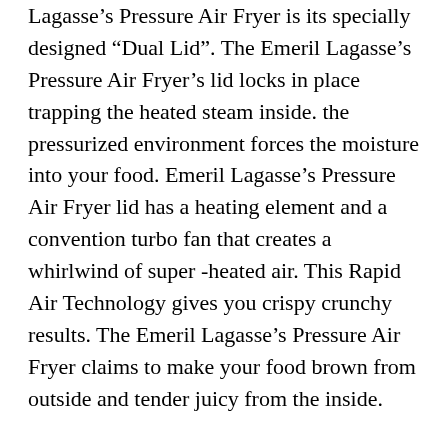Lagasse's Pressure Air Fryer is its specially designed “Dual Lid”. The Emeril Lagasse’s Pressure Air Fryer’s lid locks in place trapping the heated steam inside. the pressurized environment forces the moisture into your food. Emeril Lagasse’s Pressure Air Fryer lid has a heating element and a convention turbo fan that creates a whirlwind of super -heated air. This Rapid Air Technology gives you crispy crunchy results. The Emeril Lagasse’s Pressure Air Fryer claims to make your food brown from outside and tender juicy from the inside.
Emeril Lagasse’s tries to demonstrate the difference between the “Pressure Cooked Air Fried” chicken which is brown and the “pressure cooked” chicken which is soggy and bland. He (Emeril Lagasse) asserts that you can get these “brown” and juicy results only with Emeril